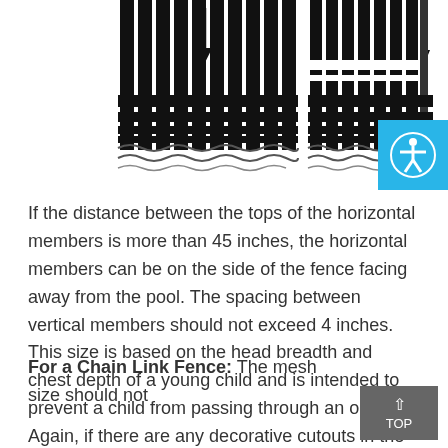[Figure (illustration): Two technical diagrams showing fence cross-sections with vertical and horizontal members, illustrating pool fence construction requirements.]
If the distance between the tops of the horizontal members is more than 45 inches, the horizontal members can be on the side of the fence facing away from the pool. The spacing between vertical members should not exceed 4 inches. This size is based on the head breadth and chest depth of a young child and is intended to prevent a child from passing through an opening. Again, if there are any decorative cutouts in the fence, the space within the cutouts should not exceed 1-3/4 inches.
For a Chain Link Fence: The mesh size should not